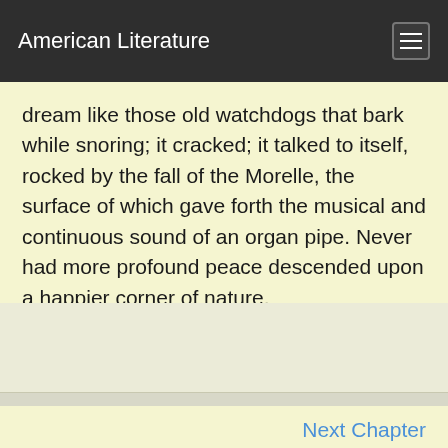American Literature
dream like those old watchdogs that bark while snoring; it cracked; it talked to itself, rocked by the fall of the Morelle, the surface of which gave forth the musical and continuous sound of an organ pipe. Never had more profound peace descended upon a happier corner of nature.
Next Chapter
Return to the The Miller's Daughter Summary